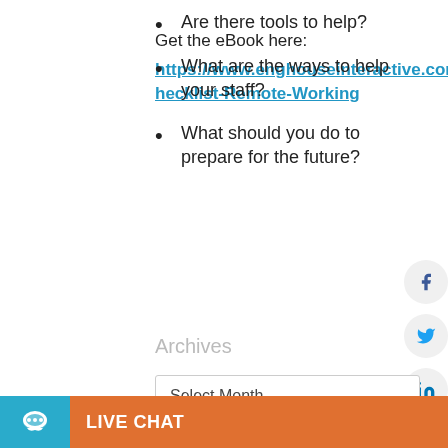Are there tools to help?
What are the ways to help your staff?
What should you do to prepare for the future?
Get the eBook here:
https://www.enghouseinteractive.com.au/Checklist-Remote-Working
Archives
Select Month